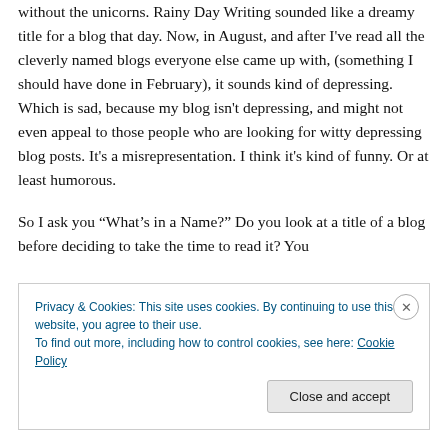without the unicorns. Rainy Day Writing sounded like a dreamy title for a blog that day. Now, in August, and after I've read all the cleverly named blogs everyone else came up with, (something I should have done in February), it sounds kind of depressing. Which is sad, because my blog isn't depressing, and might not even appeal to those people who are looking for witty depressing blog posts. It's a misrepresentation. I think it's kind of funny. Or at least humorous.
So I ask you “What’s in a Name?” Do you look at a title of a blog before deciding to take the time to read it? You
Privacy & Cookies: This site uses cookies. By continuing to use this website, you agree to their use.
To find out more, including how to control cookies, see here: Cookie Policy